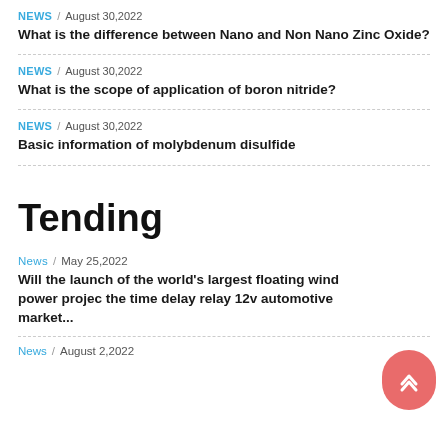NEWS / August 30,2022
What is the difference between Nano and Non Nano Zinc Oxide?
NEWS / August 30,2022
What is the scope of application of boron nitride?
NEWS / August 30,2022
Basic information of molybdenum disulfide
Tending
News / May 25,2022
Will the launch of the world's largest floating wind power projec the time delay relay 12v automotive market...
News / August 2,2022